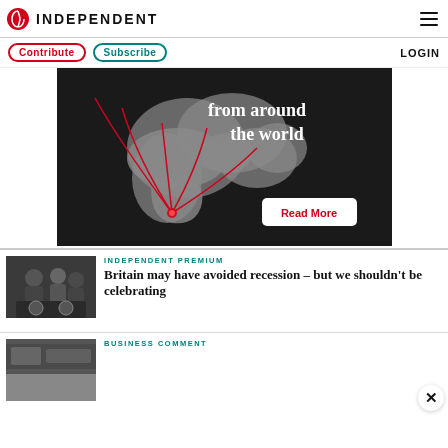INDEPENDENT
Contribute   Subscribe   LOGIN
[Figure (photo): Advertisement banner with dark background showing a world map with red arc lines and text 'from around the world' with a Read More button]
[Figure (photo): Photo of workers in a manufacturing or engineering setting working on machinery]
INDEPENDENT PREMIUM
Britain may have avoided recession – but we shouldn't be celebrating
[Figure (photo): Photo of industrial machinery or factory equipment]
BUSINESS COMMENT